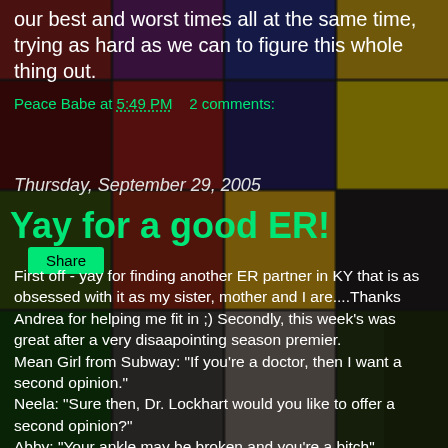[Figure (photo): Background photo of a grid of colorful paint pigment trays — includes reds, blues, greens, yellows, purple, dark tones arranged in a grid pattern.]
our best and worst times all at the same time, trying as hard as we can to figure this whole thing out.
Peace Babe at 5:49 PM   2 comments:
Share
Thursday, September 29, 2005
Yay for a good ER!
First off - yay for finding another ER partner in KY that is as obsessed with it as my sister, mother and I are....Thanks Andrea for helping me fit in ;) Secondly, this week's was great after a very disaapointing season premier.
Mean Girl from Subway: "If you're a doctor, then I want a second opinion."
Neela: "Sure then, Dr. Lockhart would you like to offer a second opinion?"
Abby: "Your ankle may be broken and you're a bitch"
:)